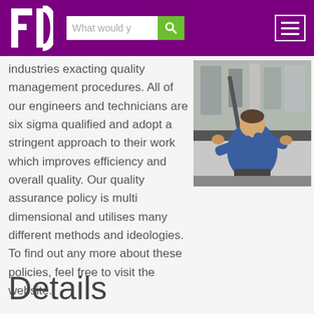[Figure (logo): FD logo in white on purple background]
industries exacting quality management procedures. All of our engineers and technicians are six sigma qualified and adopt a stringent approach to their work which improves efficiency and overall quality. Our quality assurance policy is multi dimensional and utilises many different methods and ideologies. To find out any more about these policies, feel free to visit the website.
[Figure (photo): Engineer working at a machine/workbench in an industrial setting, viewed from behind]
Details